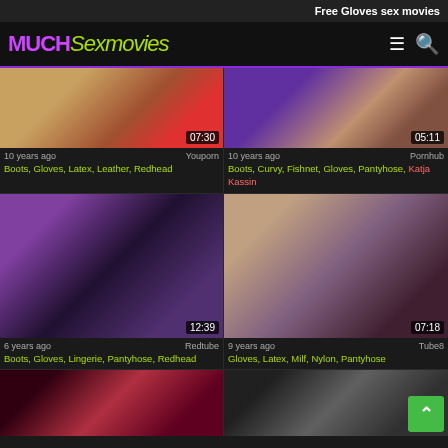Free Gloves sex movies
MUCHSexmovies
[Figure (screenshot): Video thumbnail 1, duration 07:30]
10 years ago
Youporn
Boots, Gloves, Latex, Leather, Redhead
[Figure (screenshot): Video thumbnail 2, duration 05:11]
10 years ago
Pornhub
Boots, Curvy, Fishnet, Gloves, Pantyhose, Katja Kassin
[Figure (screenshot): Video thumbnail 3, duration 12:39]
6 years ago
Redtube
Boots, Gloves, Lingerie, Pantyhose, Redhead
[Figure (screenshot): Video thumbnail 4, duration 07:18]
9 years ago
Tube8
Gloves, Latex, Milf, Nylon, Pantyhose
[Figure (screenshot): Video thumbnail 5, partial]
[Figure (screenshot): Video thumbnail 6, partial, with back-to-top button]